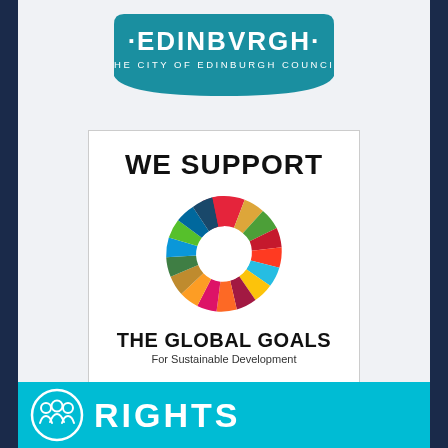[Figure (logo): City of Edinburgh Council logo — teal banner with dot-EDINBVRGH-dot text and 'THE CITY OF EDINBURGH COUNCIL' subtitle in white]
[Figure (logo): UN Sustainable Development Goals wheel — colourful circular wheel logo with 17 segments in different colours]
WE SUPPORT
THE GLOBAL GOALS
For Sustainable Development
- AWARDED GOLD JUNE 2018 -
[Figure (logo): Rights-related cyan banner at the bottom with a circular icon showing people and the word RIGHTS in bold white text]